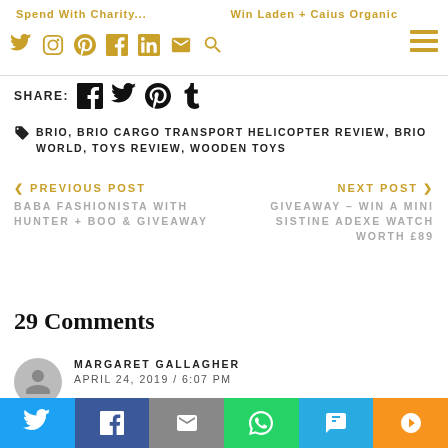Spend With Charity    Win Laden + Caius Organic
SHARE:
BRIO, BRIO CARGO TRANSPORT HELICOPTER REVIEW, BRIO WORLD, TOYS REVIEW, WOODEN TOYS
< PREVIOUS POST
BABA FASHIONISTA WITH HUNTER + BOO & GIVEAWAY
NEXT POST >
GIVEAWAY – WIN A MINI SISTINE ADEXE WATCH WORTH £89
29 Comments
MARGARET GALLAGHER
APRIL 24, 2019 / 6:07 PM
My great neice has this too – they certainly do fuel young imaginations